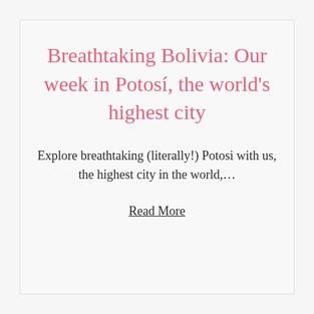Breathtaking Bolivia: Our week in Potosí, the world's highest city
Explore breathtaking (literally!) Potosi with us, the highest city in the world,…
Read More